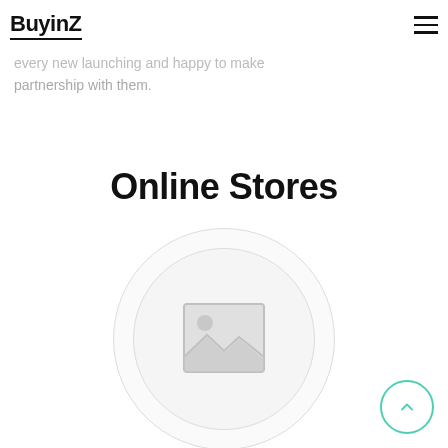BuyinZ
every new launching and happy to make partnership with them.
Online Stores
[Figure (illustration): Circular placeholder image icon with a mountain and sun landscape inside a double-ring circle border]
[Figure (illustration): Scroll-to-top button: a circle with a teal/mint border and an upward chevron arrow]